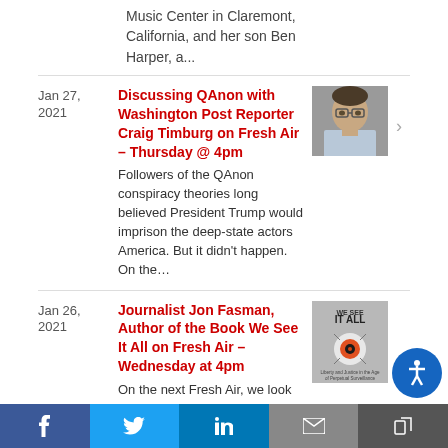Music Center in Claremont, California, and her son Ben Harper, a...
Jan 27, 2021
Discussing QAnon with Washington Post Reporter Craig Timburg on Fresh Air – Thursday @ 4pm
Followers of the QAnon conspiracy theories long believed President Trump would imprison the deep-state actors America. But it didn't happen. On the...
[Figure (photo): Portrait photo of Craig Timburg, a man wearing glasses]
Jan 26, 2021
Journalist Jon Fasman, Author of the Book We See It All on Fresh Air – Wednesday at 4pm
On the next Fresh Air, we look at the increasingly sophisticated surveillance technology employed by local...
[Figure (photo): Book cover for 'We See It All' by Jon Fasman, featuring an eye/camera iris icon on gray background]
f  t  in  [email]  [share]